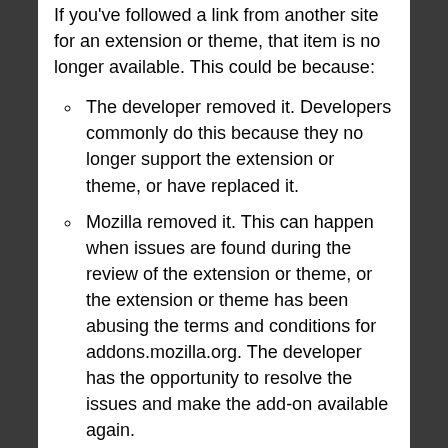If you've followed a link from another site for an extension or theme, that item is no longer available. This could be because:
The developer removed it. Developers commonly do this because they no longer support the extension or theme, or have replaced it.
Mozilla removed it. This can happen when issues are found during the review of the extension or theme, or the extension or theme has been abusing the terms and conditions for addons.mozilla.org. The developer has the opportunity to resolve the issues and make the add-on available again.
Try visiting the page later, as the theme or extension may become available again. Alternatively, you may be able to find what you're looking for in one of the